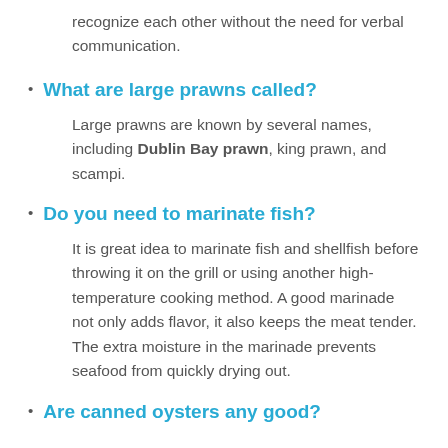recognize each other without the need for verbal communication.
What are large prawns called?
Large prawns are known by several names, including Dublin Bay prawn, king prawn, and scampi.
Do you need to marinate fish?
It is great idea to marinate fish and shellfish before throwing it on the grill or using another high-temperature cooking method. A good marinade not only adds flavor, it also keeps the meat tender. The extra moisture in the marinade prevents seafood from quickly drying out.
Are canned oysters any good?